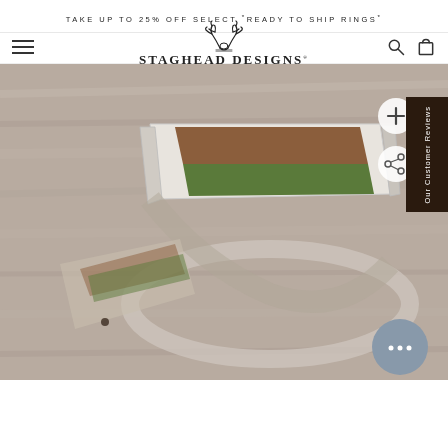TAKE UP TO 25% OFF SELECT *READY TO SHIP RINGS*
[Figure (logo): Staghead Designs logo with antler illustration, text 'STAGHEAD DESIGNS® WEAR & BE WILD']
[Figure (photo): Close-up product photo of a wooden ring with brown and green inlay stripes on a blurred gray wood background. The ring appears to be a flat-top style band with elk bark and nephrite jade or similar green stone inlays, set in a white/silver metal band.]
Our Customer Reviews